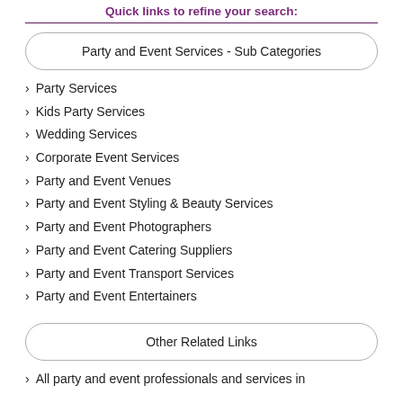Quick links to refine your search:
Party and Event Services - Sub Categories
Party Services
Kids Party Services
Wedding Services
Corporate Event Services
Party and Event Venues
Party and Event Styling & Beauty Services
Party and Event Photographers
Party and Event Catering Suppliers
Party and Event Transport Services
Party and Event Entertainers
Other Related Links
All party and event professionals and services in